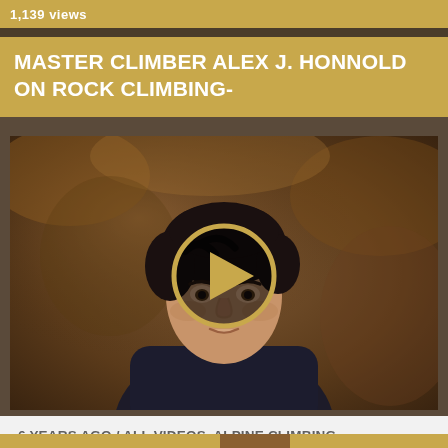1,139 views
MASTER CLIMBER ALEX J. HONNOLD ON ROCK CLIMBING-
[Figure (screenshot): Video thumbnail showing a close-up portrait of a young man with dark hair wearing a dark hoodie with a green shirt underneath, in an outdoor setting with blurred brown/orange background. A golden circular play button is centered over the image.]
6 YEARS AGO / ALL VIDEOS, ALPINE CLIMBING, PROFESSIONAL